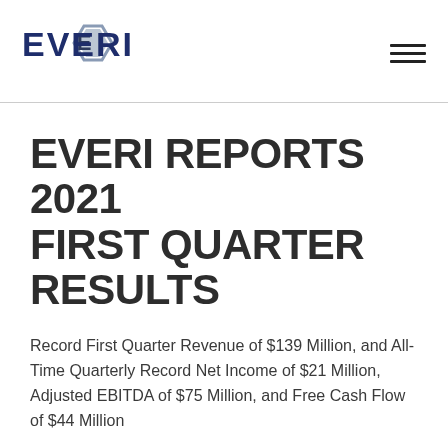[Figure (logo): Everi logo with stylized hexagonal E icon in grey/blue and bold dark blue EVERI text]
EVERI REPORTS 2021 FIRST QUARTER RESULTS
Record First Quarter Revenue of $139 Million, and All-Time Quarterly Record Net Income of $21 Million, Adjusted EBITDA of $75 Million, and Free Cash Flow of $44 Million
Las Vegas – May 5, 2021 – Everi Holdings Inc.